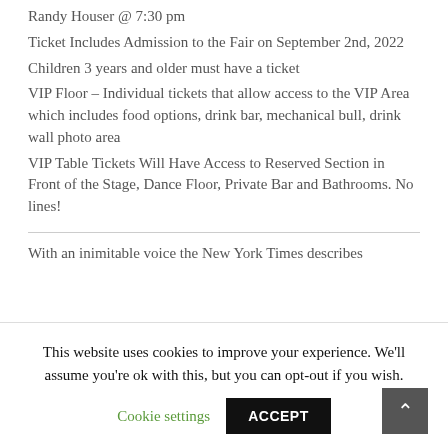Randy Houser @ 7:30 pm
Ticket Includes Admission to the Fair on September 2nd, 2022
Children 3 years and older must have a ticket
VIP Floor – Individual tickets that allow access to the VIP Area which includes food options, drink bar, mechanical bull, drink wall photo area
VIP Table Tickets Will Have Access to Reserved Section in Front of the Stage, Dance Floor, Private Bar and Bathrooms. No lines!
With an inimitable voice the New York Times describes
This website uses cookies to improve your experience. We'll assume you're ok with this, but you can opt-out if you wish.
Cookie settings
ACCEPT